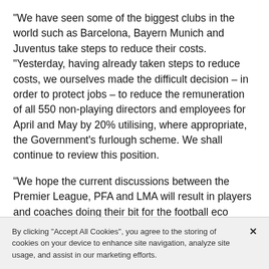“We have seen some of the biggest clubs in the world such as Barcelona, Bayern Munich and Juventus take steps to reduce their costs. “Yesterday, having already taken steps to reduce costs, we ourselves made the difficult decision – in order to protect jobs – to reduce the remuneration of all 550 non-playing directors and employees for April and May by 20% utilising, where appropriate, the Government’s furlough scheme. We shall continue to review this position.
“We hope the current discussions between the Premier League, PFA and LMA will result in players and coaches doing their bit for the football eco system.
“I have no doubt we will get through this crisis but life
By clicking “Accept All Cookies”, you agree to the storing of cookies on your device to enhance site navigation, analyze site usage, and assist in our marketing efforts.